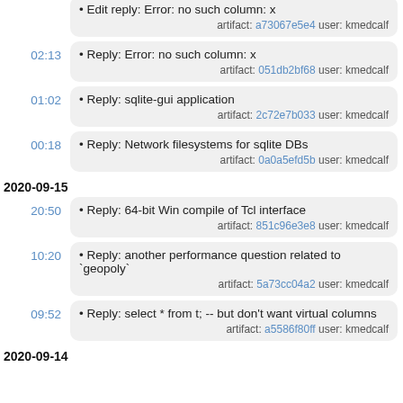Edit reply: Error: no such column: x — artifact: a73067e5e4 user: kmedcalf
02:13 — Reply: Error: no such column: x — artifact: 051db2bf68 user: kmedcalf
01:02 — Reply: sqlite-gui application — artifact: 2c72e7b033 user: kmedcalf
00:18 — Reply: Network filesystems for sqlite DBs — artifact: 0a0a5efd5b user: kmedcalf
2020-09-15
20:50 — Reply: 64-bit Win compile of Tcl interface — artifact: 851c96e3e8 user: kmedcalf
10:20 — Reply: another performance question related to `geopoly` — artifact: 5a73cc04a2 user: kmedcalf
09:52 — Reply: select * from t; -- but don't want virtual columns — artifact: a5586f80ff user: kmedcalf
2020-09-14